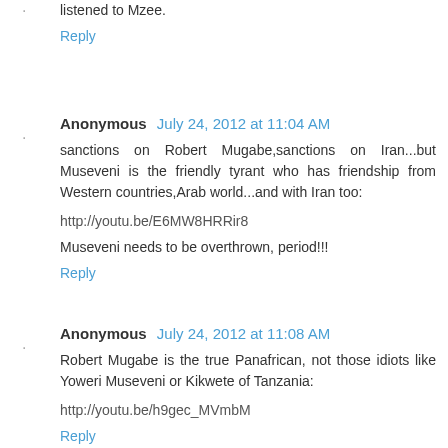listened to Mzee.
Reply
Anonymous July 24, 2012 at 11:04 AM
sanctions on Robert Mugabe,sanctions on Iran...but Museveni is the friendly tyrant who has friendship from Western countries,Arab world...and with Iran too:
http://youtu.be/E6MW8HRRir8
Museveni needs to be overthrown, period!!!
Reply
Anonymous July 24, 2012 at 11:08 AM
Robert Mugabe is the true Panafrican, not those idiots like Yoweri Museveni or Kikwete of Tanzania:
http://youtu.be/h9gec_MVmbM
Reply